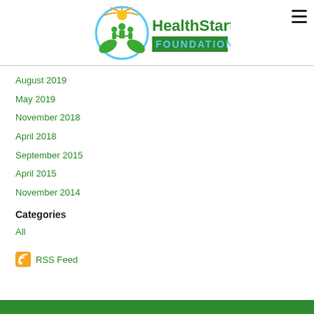[Figure (logo): HealthStart Foundation logo with circular green/blue design and figure icons]
August 2019
May 2019
November 2018
April 2018
September 2015
April 2015
November 2014
Categories
All
RSS Feed